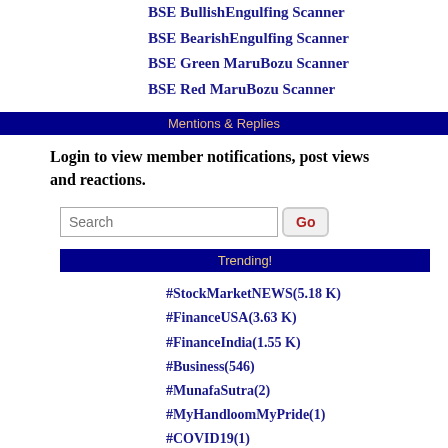BSE BullishEngulfing Scanner
BSE BearishEngulfing Scanner
BSE Green MaruBozu Scanner
BSE Red MaruBozu Scanner
Mentions & Replies
Login to view member notifications, post views and reactions.
Search
Trending!
#StockMarketNEWS(5.18 K)
#FinanceUSA(3.63 K)
#FinanceIndia(1.55 K)
#Business(546)
#MunafaSutra(2)
#MyHandloomMyPride(1)
#COVID19(1)
#SheMeansBusiness(1)
#FileNow(1)
Show more